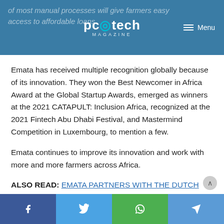of most manual processes will give farmers easy access to affordable loans
Emata has received multiple recognition globally because of its innovation. They won the Best Newcomer in Africa Award at the Global Startup Awards, emerged as winners at the 2021 CATAPULT: Inclusion Africa, recognized at the 2021 Fintech Abu Dhabi Festival, and Mastermind Competition in Luxembourg, to mention a few.
Emata continues to improve its innovation and work with more and more farmers across Africa.
ALSO READ: EMATA PARTNERS WITH THE DUTCH EMBASSY TO GIVE DIGITAL LOANS TO SMALLHOLDER FARMERS IN UGANDA
f  y  WhatsApp  Telegram